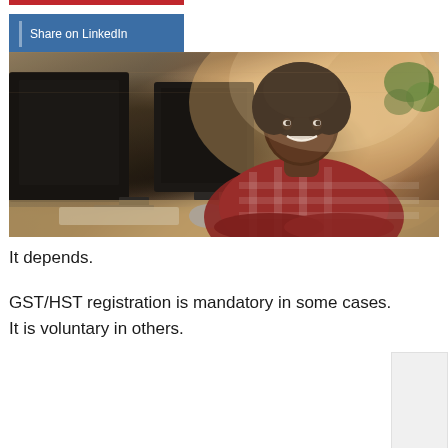[Figure (other): Red horizontal bar at top of page]
Share on LinkedIn
[Figure (photo): A smiling woman in a plaid shirt sitting at a desk with computer monitors in an office/studio workspace setting]
It depends.
GST/HST registration is mandatory in some cases. It is voluntary in others.